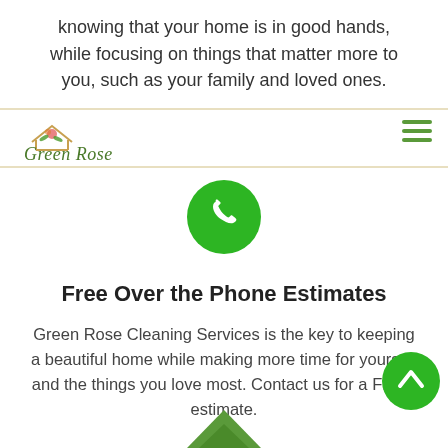knowing that your home is in good hands, while focusing on things that matter more to you, such as your family and loved ones.
[Figure (logo): Green Rose Cleaning Services logo with house outline and rose, script text 'Green Rose']
[Figure (illustration): Green circle button with white phone icon]
Free Over the Phone Estimates
Green Rose Cleaning Services is the key to keeping a beautiful home while making more time for yourself and the things you love most. Contact us for a FREE estimate.
[Figure (illustration): Green circle scroll-to-top button with white upward chevron]
[Figure (illustration): Green house/roof icon partially visible at bottom of page]